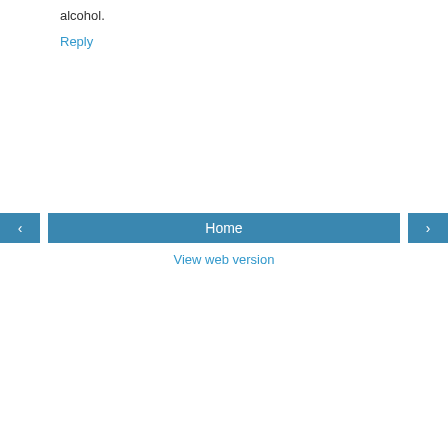alcohol.
Reply
Home
View web version